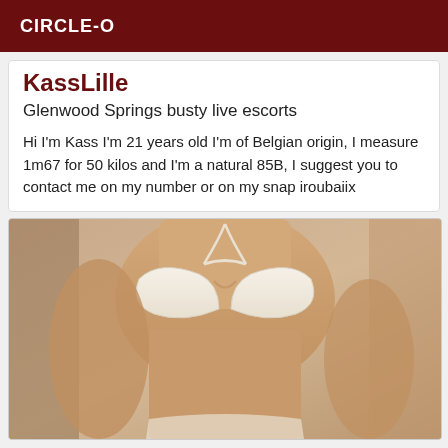CIRCLE-O
KassLille
Glenwood Springs busty live escorts
Hi I'm Kass I'm 21 years old I'm of Belgian origin, I measure 1m67 for 50 kilos and I'm a natural 85B, I suggest you to contact me on my number or on my snap iroubaiix
[Figure (photo): Sepia-toned photo of a woman wearing a white bikini top, cropped torso view]